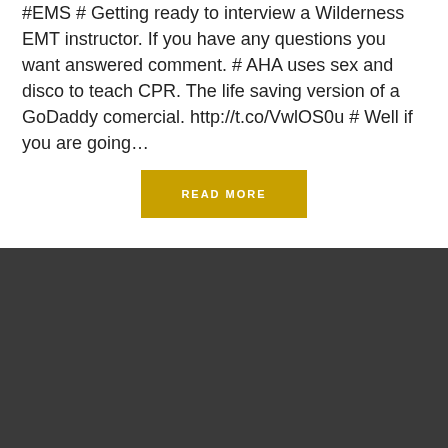#EMS # Getting ready to interview a Wilderness EMT instructor. If you have any questions you want answered comment. # AHA uses sex and disco to teach CPR. The life saving version of a GoDaddy comercial. http://t.co/VwlOS0u # Well if you are going…
READ MORE
SEARCH
Search …